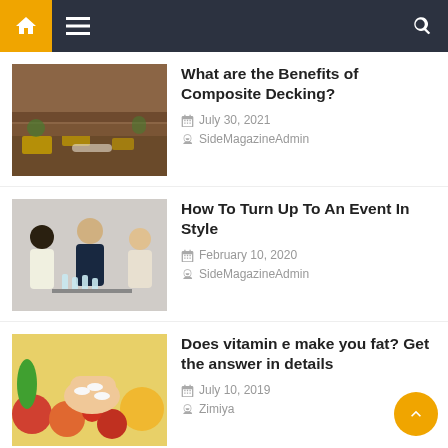Navigation bar with home, menu, and search icons
[Figure (photo): Outdoor decking area with yellow cushions and wooden furniture]
What are the Benefits of Composite Decking?
July 30, 2021
SideMagazineAdmin
[Figure (photo): People at a networking event holding drinks]
How To Turn Up To An Event In Style
February 10, 2020
SideMagazineAdmin
[Figure (photo): Hand holding vitamin capsules with fruits and vegetables in background]
Does vitamin e make you fat? Get the answer in details
July 10, 2019
Zimiya
[Figure (photo): Pasta dish with vegetables]
Cooking methods: which are the healthiest ones?